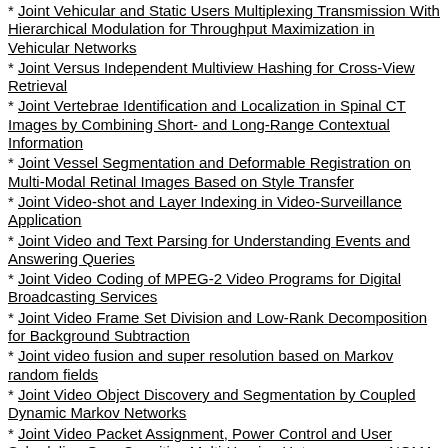Joint Vehicular and Static Users Multiplexing Transmission With Hierarchical Modulation for Throughput Maximization in Vehicular Networks
Joint Versus Independent Multiview Hashing for Cross-View Retrieval
Joint Vertebrae Identification and Localization in Spinal CT Images by Combining Short- and Long-Range Contextual Information
Joint Vessel Segmentation and Deformable Registration on Multi-Modal Retinal Images Based on Style Transfer
Joint Video-shot and Layer Indexing in Video-Surveillance Application
Joint Video and Text Parsing for Understanding Events and Answering Queries
Joint Video Coding of MPEG-2 Video Programs for Digital Broadcasting Services
Joint Video Frame Set Division and Low-Rank Decomposition for Background Subtraction
Joint video fusion and super resolution based on Markov random fields
Joint Video Object Discovery and Segmentation by Coupled Dynamic Markov Networks
Joint Video Packet Assignment, Power Control and User Scheduling Over Cognitive Multi-Homing Heterogeneous NOMA Networks